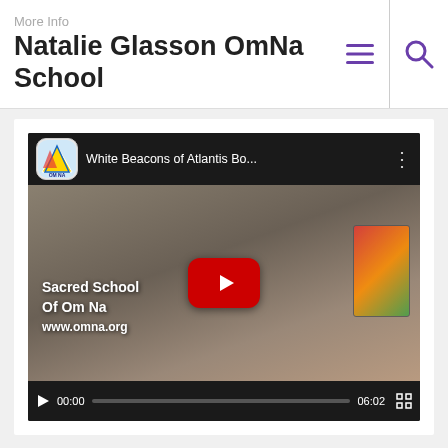More Info
Natalie Glasson OmNa School
[Figure (screenshot): YouTube video player showing 'White Beacons of Atlantis Bo...' with a woman holding a book, overlay text 'Sacred School Of Om Na www.omna.org', play button, and video controls showing 00:00 / 06:02]
Archives